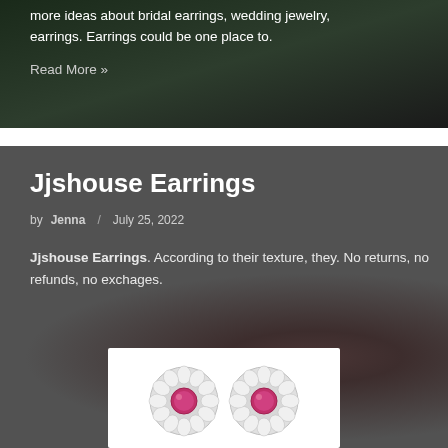more ideas about bridal earrings, wedding jewelry, earrings. Earrings could be one place to.
Read More »
Jjshouse Earrings
by Jenna / July 25, 2022
Jjshouse Earrings. According to their texture, they. No returns, no refunds, no exchages.
[Figure (photo): Two round silver stud earrings with pink/red center gemstones surrounded by a halo of small white crystals/diamonds, displayed on white background]